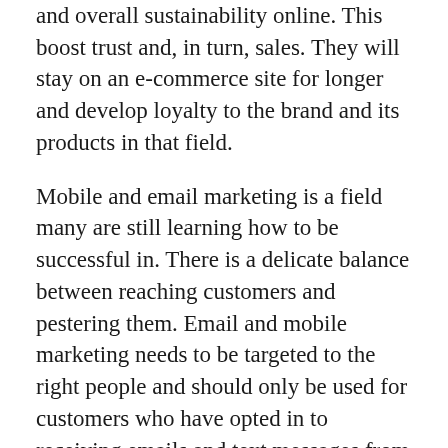and overall sustainability online. This boost trust and, in turn, sales. They will stay on an e-commerce site for longer and develop loyalty to the brand and its products in that field.
Mobile and email marketing is a field many are still learning how to be successful in. There is a delicate balance between reaching customers and pestering them. Email and mobile marketing needs to be targeted to the right people and should only be used for customers who have opted in to receiving emails and text messages from a business.
As for Branding, there are many strategies here, including improving overall brand experience and stay consistent with that. Branding means better positioning the brand in a crowded marketplace. When it becomes notable from customers, great their interest in